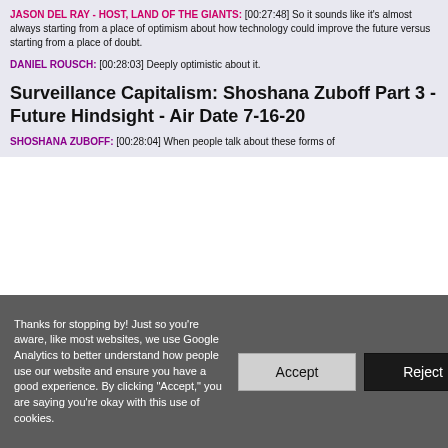JASON DEL RAY - HOST, LAND OF THE GIANTS: [00:27:48] So it sounds like it's almost always starting from a place of optimism about how technology could improve the future versus starting from a place of doubt.
DANIEL ROUSCH: [00:28:03] Deeply optimistic about it.
Surveillance Capitalism: Shoshana Zuboff Part 3 - Future Hindsight - Air Date 7-16-20
SHOSHANA ZUBOFF: [00:28:04] When people talk about these forms of
Thanks for stopping by! Just so you're aware, like most websites, we use Google Analytics to better understand how people use our website and ensure you have a good experience. By clicking "Accept," you are saying you're okay with this use of cookies.
Accept
Reject